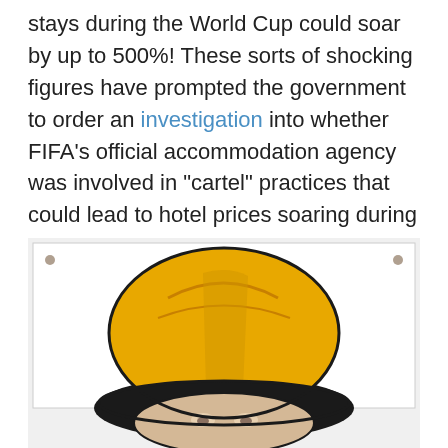stays during the World Cup could soar by up to 500%! These sorts of shocking figures have prompted the government to order an investigation into whether FIFA’s official accommodation agency was involved in “cartel” practices that could lead to hotel prices soaring during the 2014 World Cup. We’ll be keeping an eye on that, but the wonders of Brazil will be there all year long.
[Figure (illustration): Illustration of a stylized face wearing a yellow/gold helmet or hat, rendered in a comic/pop-art style with black outlines. The image is partially cut off at the bottom, showing mainly the hat and the upper part of the face.]